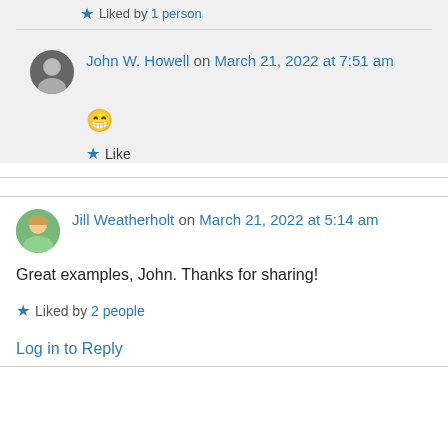Liked by 1 person
John W. Howell on March 21, 2022 at 7:51 am
😁
Like
Jill Weatherholt on March 21, 2022 at 5:14 am
Great examples, John. Thanks for sharing!
Liked by 2 people
Log in to Reply